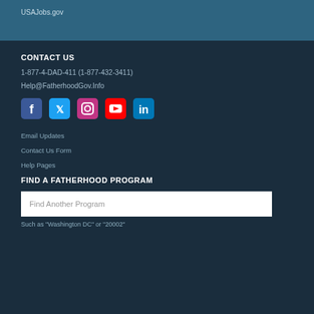USAJobs.gov
CONTACT US
1-877-4-DAD-411 (1-877-432-3411)
Help@FatherhoodGov.Info
[Figure (infographic): Social media icons: Facebook, Twitter, Instagram, YouTube, LinkedIn]
Email Updates
Contact Us Form
Help Pages
FIND A FATHERHOOD PROGRAM
Find Another Program
Such as "Washington DC" or "20002"